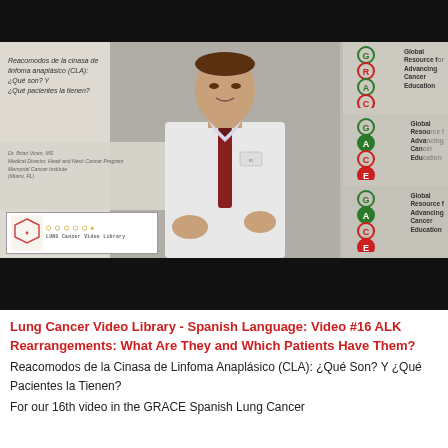[Figure (screenshot): Video screenshot showing a doctor in a white coat speaking, with Spanish language slide content visible on the left reading 'Reacomodos de la cinasa de linfoma anaplásico (CLA): ¿Qué son? Y ¿Qué pacientes la tienen?', GRACE logos visible, and a Lung Cancer Video Library badge in the lower left. Black bars at top and bottom.]
Lung Cancer Video Library - Spanish Language: Video #16 ALK Rearrangements: What Are They and Which Patients Have Them?
Reacomodos de la Cinasa de Linfoma Anaplásico (CLA): ¿Qué Son? Y ¿Qué Pacientes la Tienen?
For our 16th video in the GRACE Spanish Lung Cancer